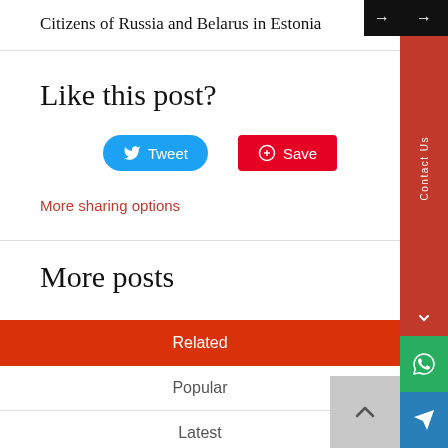Citizens of Russia and Belarus in Estonia
Like this post?
[Figure (screenshot): Tweet button (blue rounded) and Save button (red) for sharing]
More sharing options
More posts
| Related | Popular | Latest |
| --- | --- | --- |